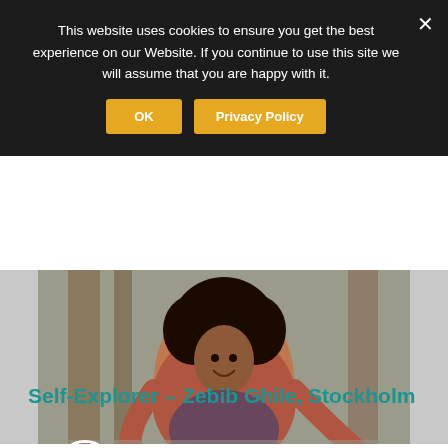This website uses cookies to ensure you get the best experience on our Website. If you continue to use this site we will assume that you are happy with it.
[Figure (photo): Photo of Zebib Ghile, a woman with curly hair wearing a red/rust cardigan and colorful dress, sitting on or near railroad tracks with gravel and wooden railway ties visible, photographed from above. A smaller circular avatar/profile image of the same person is overlaid at the bottom-left corner.]
Self-Explorer – Zebib Ghile, Stockholm
Being curious by nature, a bi-cultural and a